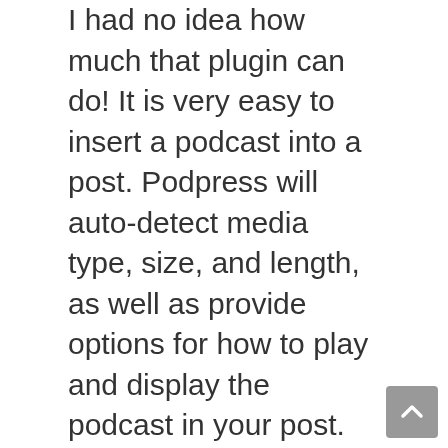I had no idea how much that plugin can do! It is very easy to insert a podcast into a post. Podpress will auto-detect media type, size, and length, as well as provide options for how to play and display the podcast in your post. Podpress also enables you to set different settings per category. Nice.

Next was a very cool discussion about blogs vs. journalism led by John Dvorak and Om Malik. It was very interesting and covered a lot of ground. The discussion started off looking at the perceptions that people have about blogs and whether blogs are a replacement for journalism, an addition to journalism, or are journalism in themselves. Also discussed were the role of comments and how the appearance of a blog can affect